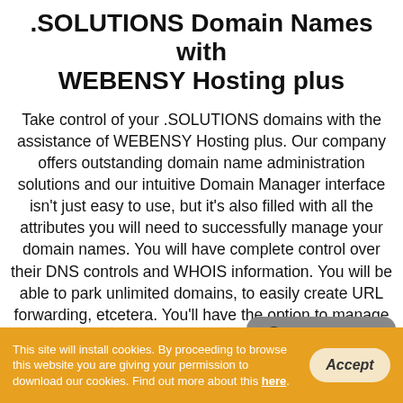.SOLUTIONS Domain Names with WEBENSY Hosting plus
Take control of your .SOLUTIONS domains with the assistance of WEBENSY Hosting plus. Our company offers outstanding domain name administration solutions and our intuitive Domain Manager interface isn't just easy to use, but it's also filled with all the attributes you will need to successfully manage your domain names. You will have complete control over their DNS controls and WHOIS information. You will be able to park unlimited domains, to easily create URL forwarding, etcetera. You'll have the option to manage numerous domains from the exact same place comfortably.
[Figure (other): Live Chat button — rounded grey speech bubble with chat icon and text 'Live Chat' in white]
This site will install cookies. By proceeding to browse this website you are giving your permission to download our cookies. Find out more about this here.